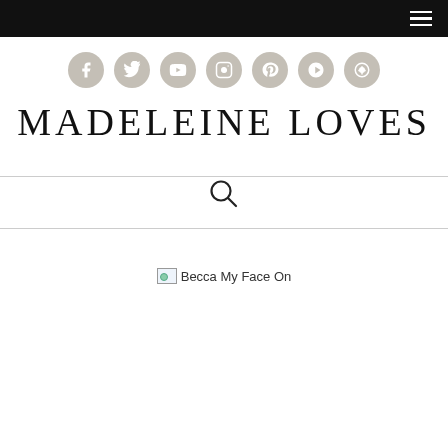Navigation bar with hamburger menu
[Figure (infographic): Row of 7 circular social media icons (Facebook, Twitter, YouTube, Instagram, Pinterest, Google+, and another) in a warm gray/taupe color]
MADELEINE LOVES
[Figure (other): Search magnifying glass icon centered between two horizontal divider lines]
[Figure (photo): Broken image placeholder with alt text 'Becca My Face On']